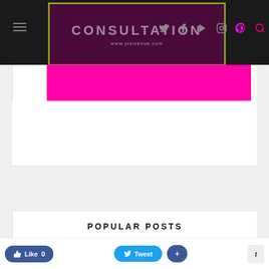CONSULTATION — www.sisivenue.com
[Figure (screenshot): Pink magenta banner strip below site header]
POPULAR POSTS
[Figure (photo): Round golden puff-puff balls on a plate]
HOW TO MAKE ROUND PUFF-PUFF WITHOUT USING YOUR HANDS
I have a great recipe for puff-puff that my mom shared on this blog, yes sh…